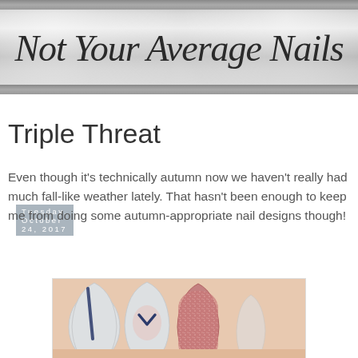Not Your Average Nails
Tuesday, October 24, 2017
Triple Threat
Even though it's technically autumn now we haven't really had much fall-like weather lately. That hasn't been enough to keep me from doing some autumn-appropriate nail designs though!
[Figure (photo): Close-up photo of stiletto nails with light grey/white base, featuring navy blue stripe accents and a chevron design, plus one glittery rose-gold nail]